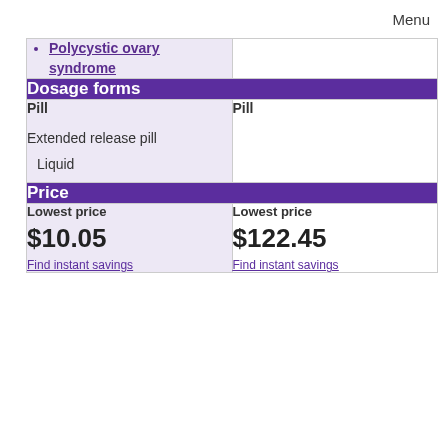Menu
Polycystic ovary syndrome
Dosage forms
Pill
Extended release pill
Liquid
Pill
Price
Lowest price
$10.05
Find instant savings
Lowest price
$122.45
Find instant savings